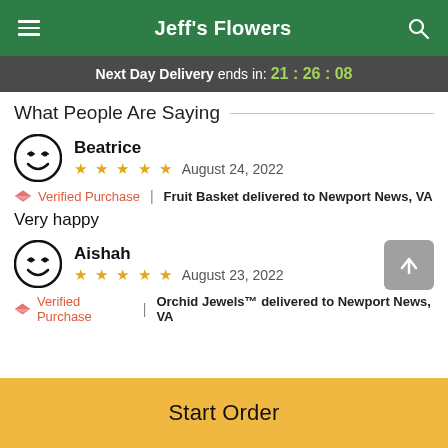Jeff's Flowers
Next Day Delivery ends in: 21:26:08
What People Are Saying
Beatrice
★★★★★ August 24, 2022
🏵 Verified Purchase | Fruit Basket delivered to Newport News, VA
Very happy
Aishah
★★★★★ August 23, 2022
🏵 Verified Purchase | Orchid Jewels™ delivered to Newport News, VA
Start Order